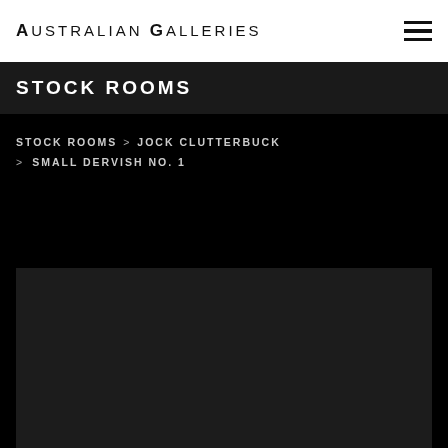Australian Galleries
STOCK ROOMS
STOCK ROOMS > JOCK CLUTTERBUCK > SMALL DERVISH NO. 1
[Figure (photo): Dark artwork image placeholder for Jock Clutterbuck's Small Dervish No. 1]